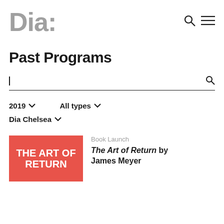Dia:
Past Programs
Search input field
2019 ∨   All types ∨
Dia Chelsea ∨
Book Launch
The Art of Return by James Meyer